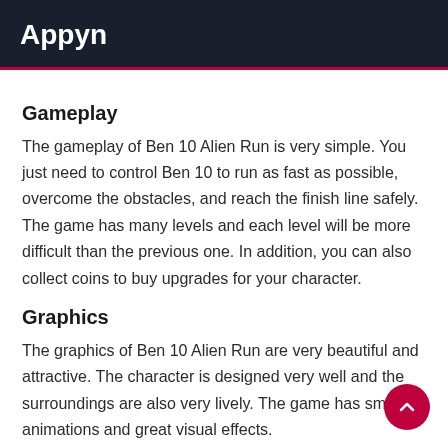Appyn
Gameplay
The gameplay of Ben 10 Alien Run is very simple. You just need to control Ben 10 to run as fast as possible, overcome the obstacles, and reach the finish line safely. The game has many levels and each level will be more difficult than the previous one. In addition, you can also collect coins to buy upgrades for your character.
Graphics
The graphics of Ben 10 Alien Run are very beautiful and attractive. The character is designed very well and the surroundings are also very lively. The game has smooth animations and great visual effects.
Sound